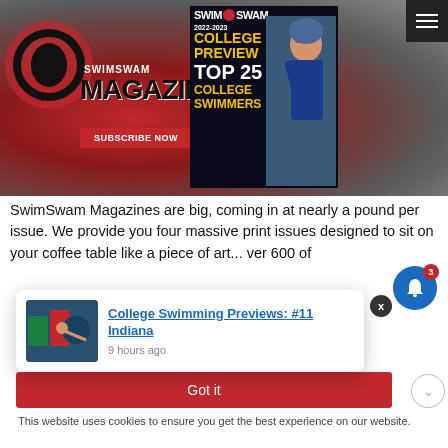[Figure (screenshot): SwimSwam Magazine banner advertisement featuring the magazine logo, 'SUBSCRIBE NOW' button, and the 2022-2023 College Preview issue cover showing a female swimmer]
SwimSwam Magazines are big, coming in at nearly a pound per issue. We provide you four massive print issues designed to sit on your coffee table like a piece of art... ver 600 of
[Figure (screenshot): Notification popup showing 'College Swimming Previews: #11 Indiana' posted 9 hours ago with a thumbnail image of a swimmer]
Got it
This website uses cookies to ensure you get the best experience on our website.